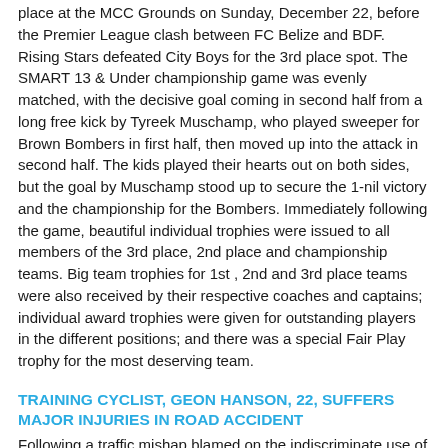place at the MCC Grounds on Sunday, December 22, before the Premier League clash between FC Belize and BDF. Rising Stars defeated City Boys for the 3rd place spot. The SMART 13 & Under championship game was evenly matched, with the decisive goal coming in second half from a long free kick by Tyreek Muschamp, who played sweeper for Brown Bombers in first half, then moved up into the attack in second half. The kids played their hearts out on both sides, but the goal by Muschamp stood up to secure the 1-nil victory and the championship for the Bombers. Immediately following the game, beautiful individual trophies were issued to all members of the 3rd place, 2nd place and championship teams. Big team trophies for 1st , 2nd and 3rd place teams were also received by their respective coaches and captains; individual award trophies were given for outstanding players in the different positions; and there was a special Fair Play trophy for the most deserving team.
TRAINING CYCLIST, GEON HANSON, 22, SUFFERS MAJOR INJURIES IN ROAD ACCIDENT
Following a traffic mishap blamed on the indiscriminate use of high-beam lights and on wet road conditions, a promising young cyclist suffered 8 broken ribs and had to have his spleen removed after he was knocked down by a bus near St. Matthew's Village on the George Price Highway. The young cyclist, 22-year-old Geon Hanson, was training for the KREM New Year's Day Cycling